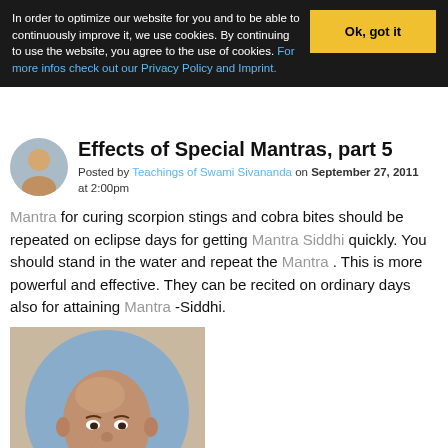In order to optimize our website for you and to be able to continuously improve it, we use cookies. By continuing to use the website, you agree to the use of cookies. For more infos check out our Privacy Policy and Imprint.
Effects of Special Mantras, part 5
Posted by Teachings of Swami Sivananda on September 27, 2011 at 2:00pm
Mantra for curing scorpion stings and cobra bites should be repeated on eclipse days for getting Mantra Siddhi quickly. You should stand in the water and repeat the Mantra . This is more powerful and effective. They can be recited on ordinary days also for attaining Mantra -Siddhi.
[Figure (photo): Portrait photo of Swami Sivananda, a bald man with a serene expression, wearing saffron/orange robes with a light scarf, set against a blue circular background]